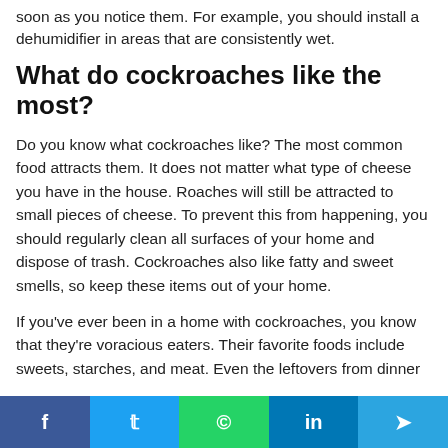soon as you notice them. For example, you should install a dehumidifier in areas that are consistently wet.
What do cockroaches like the most?
Do you know what cockroaches like? The most common food attracts them. It does not matter what type of cheese you have in the house. Roaches will still be attracted to small pieces of cheese. To prevent this from happening, you should regularly clean all surfaces of your home and dispose of trash. Cockroaches also like fatty and sweet smells, so keep these items out of your home.
If you've ever been in a home with cockroaches, you know that they're voracious eaters. Their favorite foods include sweets, starches, and meat. Even the leftovers from dinner
f  t  ©  in  ➤